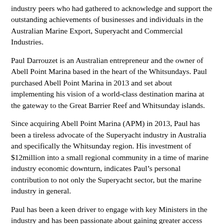industry peers who had gathered to acknowledge and support the outstanding achievements of businesses and individuals in the Australian Marine Export, Superyacht and Commercial Industries.
Paul Darrouzet is an Australian entrepreneur and the owner of Abell Point Marina based in the heart of the Whitsundays. Paul purchased Abell Point Marina in 2013 and set about implementing his vision of a world-class destination marina at the gateway to the Great Barrier Reef and Whitsunday islands.
Since acquiring Abell Point Marina (APM) in 2013, Paul has been a tireless advocate of the Superyacht industry in Australia and specifically the Whitsunday region. His investment of $12million into a small regional community in a time of marine industry economic downturn, indicates Paul's personal contribution to not only the Superyacht sector, but the marine industry in general.
Paul has been a keen driver to engage with key Ministers in the industry and has been passionate about gaining greater access for superyachts to the Great Barrier Reef. In the aftermath of Cyclone Debbie, Abell Point Marina has been able to achieve a swift return to “business as usual” despite sustaining significant damage. It is this spirit and can-do attitude that has seen Abell Point Marina develop into a world class marina under Paul’s watch, and the 2017 Superyacht Industry Champion award is fitting recognition to a